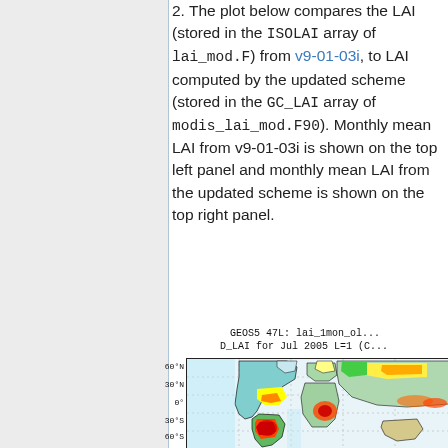2. The plot below compares the LAI (stored in the ISOLAI array of lai_mod.F) from v9-01-03i, to LAI computed by the updated scheme (stored in the GC_LAI array of modis_lai_mod.F90). Monthly mean LAI from v9-01-03i is shown on the top left panel and monthly mean LAI from the updated scheme is shown on the top right panel.
[Figure (map): World map showing D_LAI for Jul 2005 L=1, color-coded heatmap with latitude labels 60N, 30N, 0, 30S, 60S. Title: GEOS5 47L: lai_1mon_ol... D_LAI for Jul 2005 L=1 (C...]